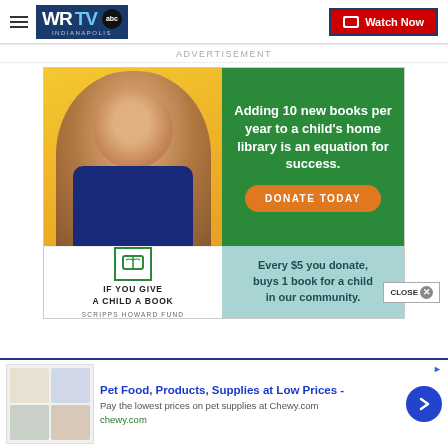WRTV Indianapolis | Watch Now
ADVERTISEMENT
[Figure (infographic): Ad banner for 'If You Give A Child A Book' Scripps Howard Fund. Shows a smiling child with books. Green panel reads: 'Adding 10 new books per year to a child's home library is an equation for success.' with a DONATE TODAY button. Bottom section: book icon logo, 'IF YOU GIVE A CHILD A BOOK' text, 'SCRIPPS HOWARD FUND', and 'Every $5 you donate, buys 1 book for a child in our community.']
[Figure (infographic): Chewy.com advertisement banner: 'Pet Food, Products, Supplies at Low Prices - Pay the lowest prices on pet supplies at Chewy.com' with chewy.com URL and a blue arrow button.]